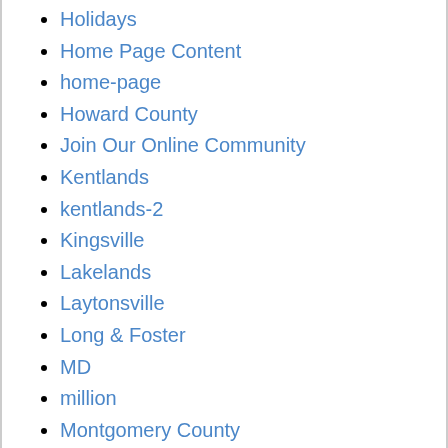Holidays
Home Page Content
home-page
Howard County
Join Our Online Community
Kentlands
kentlands-2
Kingsville
Lakelands
Laytonsville
Long & Foster
MD
million
Montgomery County
Mortgage Interest Rates
Mount Airy
Neighborhoods
New Website
News